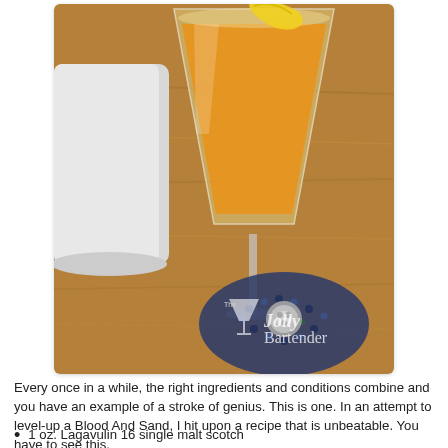[Figure (photo): A cocktail in a martini glass with an orange/yellow color and a lemon twist garnish, sitting on a wooden surface next to a decorative blue knitted coaster with a silver charm. A white cylindrical object is partially visible on the left. The Jolly Bartender watermark logo appears at the bottom right of the photo.]
Every once in a while, the right ingredients and conditions combine and you have an example of a stroke of genius. This is one. In an attempt to level-up a Blood And Sand, I hit upon a recipe that is unbeatable. You have to see this.
1 oz. Lagavulin 16 single malt scotch